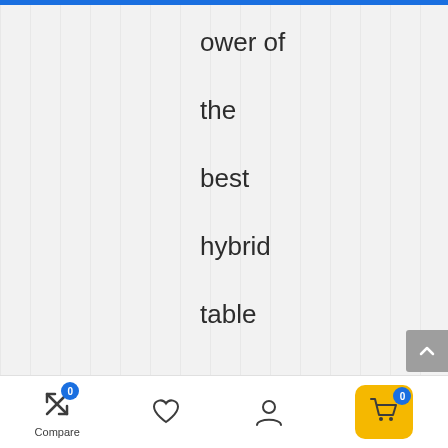ower of the best hybrid table saw can vary from 1.5 max HP to 5 max HP. A standar
Compare | (heart icon) | (user icon) | (cart icon) 0